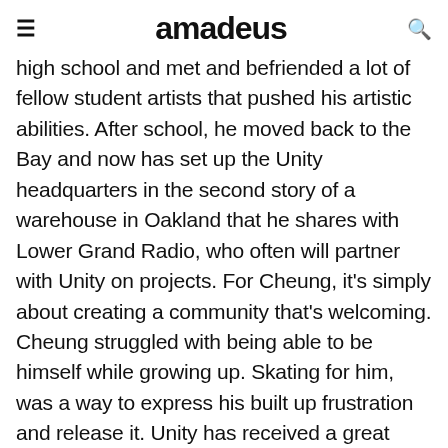≡  amadeus  🔍
high school and met and befriended a lot of fellow student artists that pushed his artistic abilities. After school, he moved back to the Bay and now has set up the Unity headquarters in the second story of a warehouse in Oakland that he shares with Lower Grand Radio, who often will partner with Unity on projects. For Cheung, it's simply about creating a community that's welcoming. Cheung struggled with being able to be himself while growing up. Skating for him, was a way to express his built up frustration and release it. Unity has received a great amount of support within the skate community and their decks are being sold in shops throughout San Francisco and the East Bay.